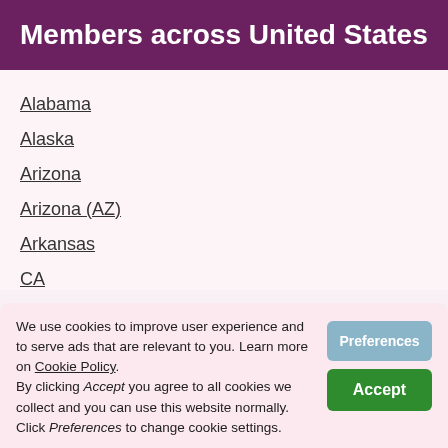Members across United States
Alabama
Alaska
Arizona
Arizona (AZ)
Arkansas
CA
We use cookies to improve user experience and to serve ads that are relevant to you. Learn more on Cookie Policy. By clicking Accept you agree to all cookies we collect and you can use this website normally. Click Preferences to change cookie settings.